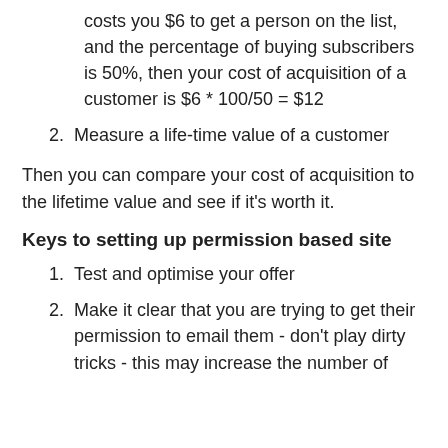costs you $6 to get a person on the list, and the percentage of buying subscribers is 50%, then your cost of acquisition of a customer is $6 * 100/50 = $12
2. Measure a life-time value of a customer
Then you can compare your cost of acquisition to the lifetime value and see if it's worth it.
Keys to setting up permission based site
1. Test and optimise your offer
2. Make it clear that you are trying to get their permission to email them - don't play dirty tricks - this may increase the number of